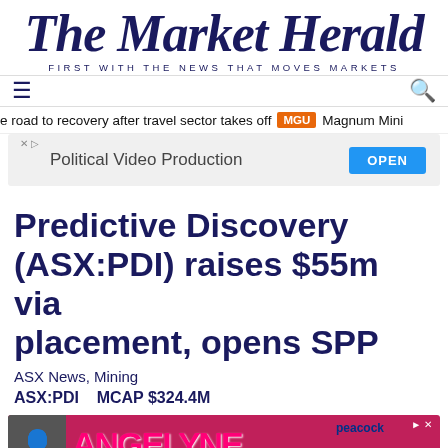The Market Herald — FIRST WITH THE NEWS THAT MOVES MARKETS
≡   Q
e road to recovery after travel sector takes off  MGU  Magnum Mini...
[Figure (screenshot): Advertisement banner: Political Video Production with OPEN button]
Predictive Discovery (ASX:PDI) raises $55m via placement, opens SPP
ASX News, Mining
ASX:PDI   MCAP $324.4M
[Figure (screenshot): Advertisement banner at bottom: Angelyne on Peacock - Sign Up Now]